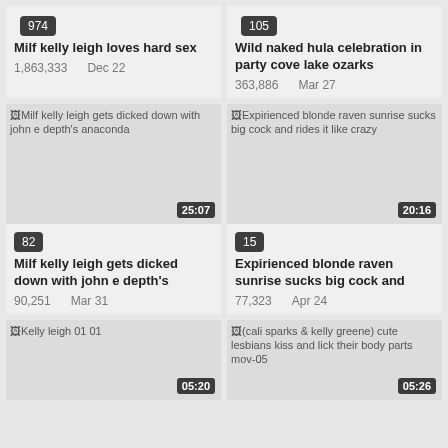[Figure (screenshot): Video thumbnail placeholder for 'Milf kelly leigh loves hard sex', view count badge 974]
Milf kelly leigh loves hard sex
1,863,333    Dec 22
[Figure (screenshot): Video thumbnail placeholder for 'Wild naked hula celebration in party cove lake ozarks', view count badge 105]
Wild naked hula celebration in party cove lake ozarks
363,886    Mar 27
[Figure (screenshot): Video thumbnail for 'Milf kelly leigh gets dicked down with john e depth's anaconda', duration 25:07, view badge 82]
Milf kelly leigh gets dicked down with john e depth's
90,251    Mar 31
[Figure (screenshot): Video thumbnail for 'Expirienced blonde raven sunrise sucks big cock and rides it like crazy', duration 20:16, view badge 15]
Expirienced blonde raven sunrise sucks big cock and
77,323    Apr 24
[Figure (screenshot): Video thumbnail for 'Kelly leigh 01 01', duration 05:20]
[Figure (screenshot): Video thumbnail for '(cali sparks & kelly greene) cute lesbians kiss and lick their body parts mov-05', duration 05:26]